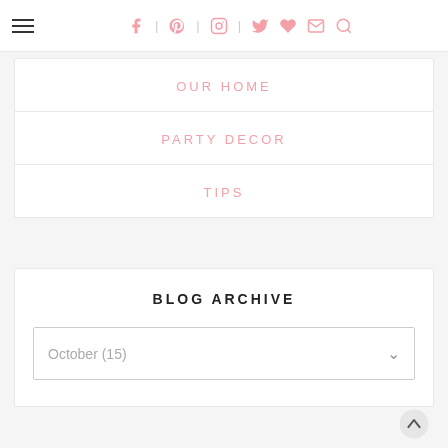Navigation bar with hamburger menu and social icons
OUR HOME
PARTY DECOR
TIPS
BLOG ARCHIVE
October (15)